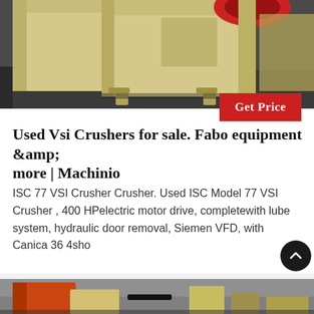[Figure (photo): Industrial jaw crusher machine in cream/beige color on dark floor inside a warehouse, viewed from front-side angle. Multiple units visible in background.]
Get Price
Used Vsi Crushers for sale. Fabo equipment &amp; more | Machinio
ISC 77 VSI Crusher Crusher. Used ISC Model 77 VSI Crusher , 400 HPelectric motor drive, completewith lube system, hydraulic door removal, Siemen VFD, with Canica 36 4sho
[Figure (photo): Industrial crushing equipment in orange/red color with large pulley wheels and belts, positioned in outdoor or semi-outdoor area against concrete wall.]